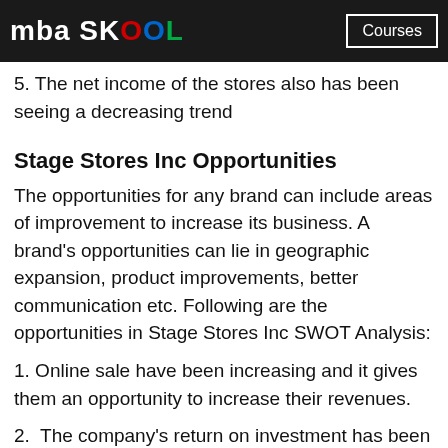mba SKOOL | Courses
5. The net income of the stores also has been seeing a decreasing trend
Stage Stores Inc Opportunities
The opportunities for any brand can include areas of improvement to increase its business. A brand's opportunities can lie in geographic expansion, product improvements, better communication etc. Following are the opportunities in Stage Stores Inc SWOT Analysis:
1. Online sale have been increasing and it gives them an opportunity to increase their revenues.
2.  The company's return on investment has been historically higher and they are coming up with new investors
3.  Mobile shopping can help them increase the sales